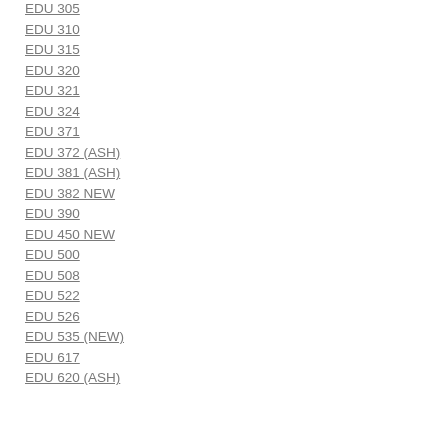EDU 305
EDU 310
EDU 315
EDU 320
EDU 321
EDU 324
EDU 371
EDU 372 (ASH)
EDU 381 (ASH)
EDU 382 NEW
EDU 390
EDU 450 NEW
EDU 500
EDU 508
EDU 522
EDU 526
EDU 535 (NEW)
EDU 617
EDU 620 (ASH)